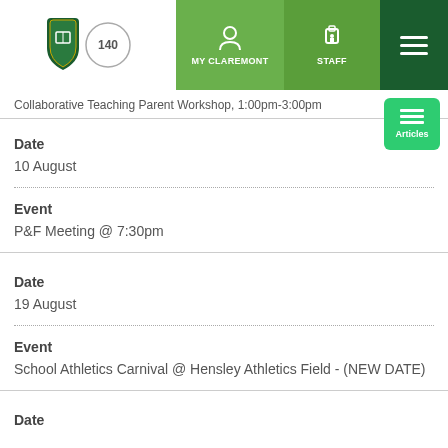[Figure (screenshot): School website navigation bar with logo (Claremont 140), MY CLAREMONT, STAFF buttons and hamburger menu]
Collaborative Teaching Parent Workshop, 1:00pm-3:00pm
Date
10 August
Event
P&F Meeting @ 7:30pm
Date
19 August
Event
School Athletics Carnival @ Hensley Athletics Field - (NEW DATE)
Date